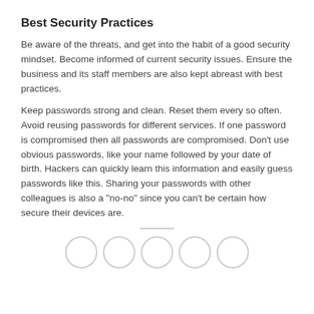Best Security Practices
Be aware of the threats, and get into the habit of a good security mindset. Become informed of current security issues. Ensure the business and its staff members are also kept abreast with best practices.
Keep passwords strong and clean. Reset them every so often. Avoid reusing passwords for different services. If one password is compromised then all passwords are compromised. Don’t use obvious passwords, like your name followed by your date of birth. Hackers can quickly learn this information and easily guess passwords like this. Sharing your passwords with other colleagues is also a “no-no” since you can’t be certain how secure their devices are.
[Figure (other): A horizontal divider line followed by five empty circles arranged in a row, used as decorative pagination or section indicator elements.]